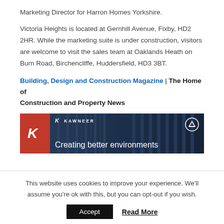Marketing Director for Harron Homes Yorkshire.
Victoria Heights is located at Gernhill Avenue, Fixby, HD2 2HR. While the marketing suite is under construction, visitors are welcome to visit the sales team at Oaklands Heath on Burn Road, Birchencliffe, Huddersfield, HD3 3BT.
Building, Design and Construction Magazine | The Home of Construction and Property News
[Figure (photo): Kawneer advertisement banner showing a modern glass building facade with the text 'Creating better environments' and Kawneer logo on a red background on the left]
This website uses cookies to improve your experience. We'll assume you're ok with this, but you can opt-out if you wish.
Accept   Read More